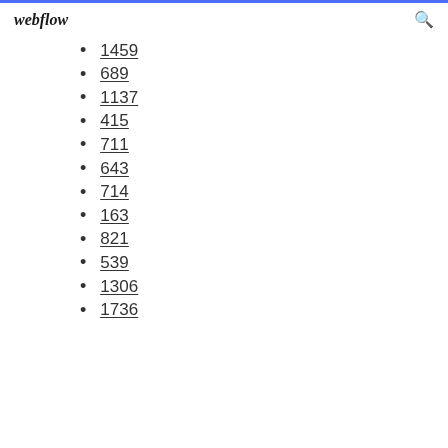webflow
1459
689
1137
415
711
643
714
163
821
539
1306
1736